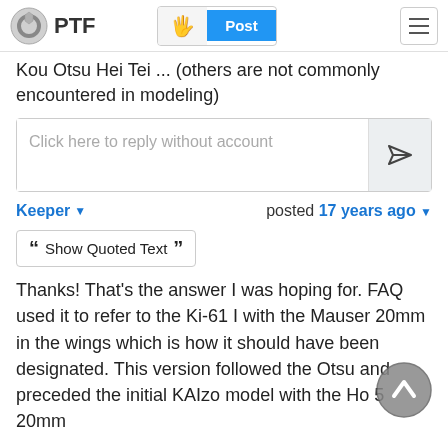PTF | Post
Kou Otsu Hei Tei ... (others are not commonly encountered in modeling)
Click here to reply without account
Keeper ▼    posted 17 years ago ▼
❝ Show Quoted Text ❞
Thanks! That's the answer I was hoping for. FAQ used it to refer to the Ki-61 I with the Mauser 20mm in the wings which is how it should have been designated. This version followed the Otsu and preceded the initial KAIzo model with the Ho 5 20mm